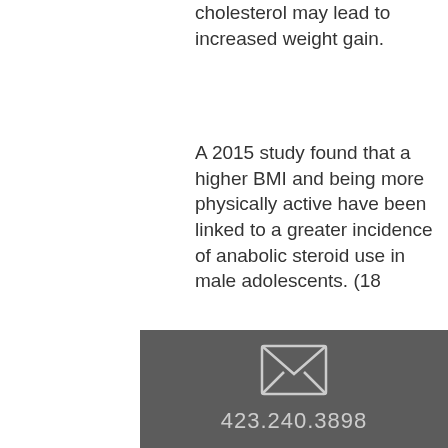cholesterol may lead to increased weight gain.
A 2015 study found that a higher BMI and being more physically active have been linked to a greater incidence of anabolic steroid use in male adolescents. (18
Similar articles:
https://www.nyseatoskyeaffaires.com/profile/columbuslongin94787/profile https://www.eecmaranatha.com/profile/clotilderahmes10658/profile https://www.2girlsoneplant.com/profile/seemahagos146638/profile https://www.lawnperfection.co.uk/profile/ervinwhittenbeck195629/profile
423.240.3898